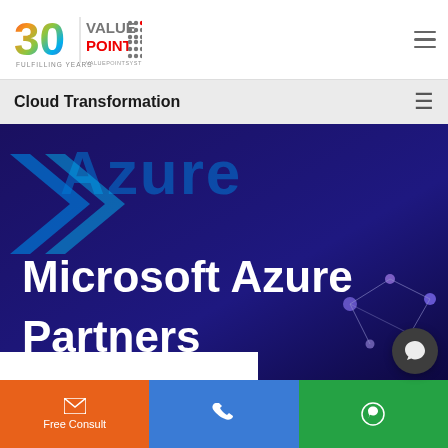[Figure (logo): ValuePoint Systems 30 Fulfilling Years logo with colorful 30 and grey/red VALUE POINT text with dots, valuepointsystems.com]
Cloud Transformation
[Figure (photo): Microsoft Azure hero banner image with dark blue/purple background, Azure logo text visible at top, network graph nodes at right, title 'Microsoft Azure Partners' in large white bold text]
Microsoft Azure Partners
Free Consult